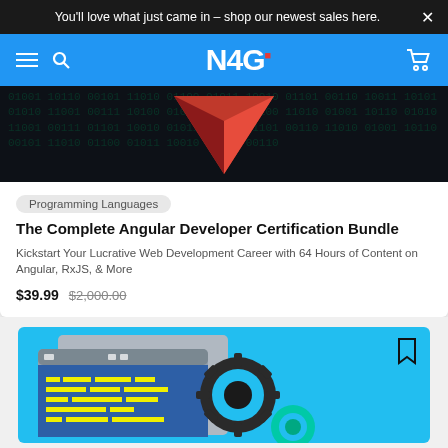You'll love what just came in – shop our newest sales here.
[Figure (logo): N4G logo on blue navigation bar with hamburger menu, search icon, and shopping cart icon]
[Figure (illustration): Dark background with binary numbers and red downward-pointing chevron/arrow shape]
Programming Languages
The Complete Angular Developer Certification Bundle
Kickstart Your Lucrative Web Development Career with 64 Hours of Content on Angular, RxJS, & More
$39.99  $2,000.00
[Figure (illustration): Blue background with code editor illustration showing colorful blocks and gears]